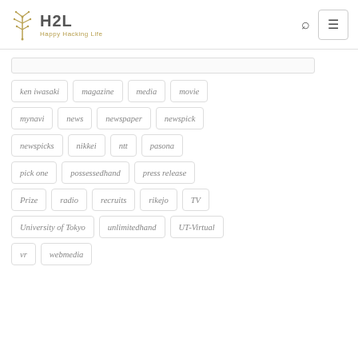H2L Happy Hacking Life
ken iwasaki
magazine
media
movie
mynavi
news
newspaper
newspick
newspicks
nikkei
ntt
pasona
pick one
possessedhand
press release
Prize
radio
recruits
rikejo
TV
University of Tokyo
unlimitedhand
UT-Virtual
vr
webmedia